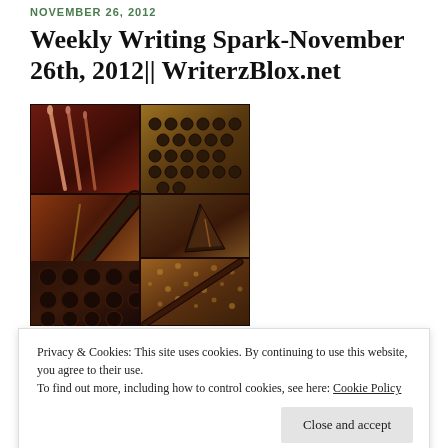NOVEMBER 26, 2012
Weekly Writing Spark-November 26th, 2012|| WriterzBlox.net
[Figure (photo): Collage of writing-themed photographs: fountain pens, typewriter keys, notebook, arranged in a grid with dark warm tones]
Privacy & Cookies: This site uses cookies. By continuing to use this website, you agree to their use.
To find out more, including how to control cookies, see here: Cookie Policy
Close and accept
singing, dancing or racing against the storm. Describe